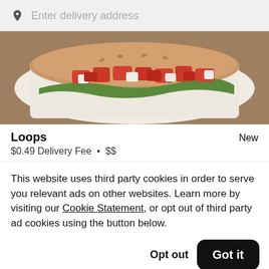Enter delivery address
[Figure (photo): Close-up photo of a sandwich or hot dog with diced tomatoes, onions, pickles, and greens on a bun, served in a white container on a gray surface.]
Loops
$0.49 Delivery Fee • $$
New
This website uses third party cookies in order to serve you relevant ads on other websites. Learn more by visiting our Cookie Statement, or opt out of third party ad cookies using the button below.
Opt out
Got it